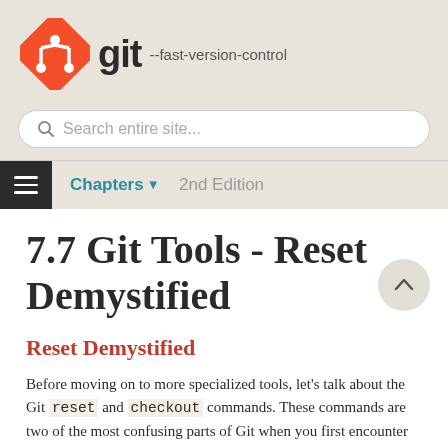[Figure (logo): Git logo: orange diamond shape with a white branching icon, followed by bold 'git' text and '--fast-version-control' tagline]
[Figure (screenshot): Search bar with magnifying glass icon and placeholder text 'Search entire site...']
Chapters ▼  2nd Edition
7.7 Git Tools - Reset Demystified
Reset Demystified
Before moving on to more specialized tools, let's talk about the Git reset and checkout commands. These commands are two of the most confusing parts of Git when you first encounter them. They do so many things that it seems hopeless to actually understand them and employ